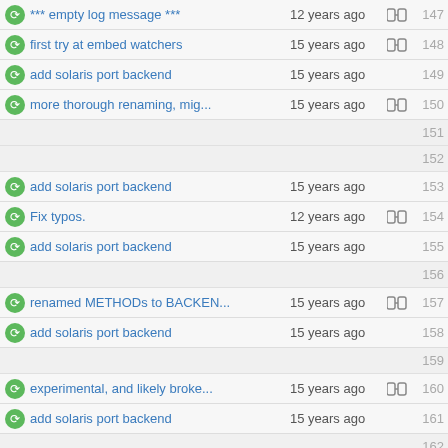*** empty log message *** 12 years ago 147
first try at embed watchers 15 years ago 148
add solaris port backend 15 years ago 149
more thorough renaming, mig... 15 years ago 150
151
152
add solaris port backend 15 years ago 153
Fix typos. 12 years ago 154
add solaris port backend 15 years ago 155
156
renamed METHODs to BACKEN... 15 years ago 157
add solaris port backend 15 years ago 158
159
experimental, and likely broke... 15 years ago 160
add solaris port backend 15 years ago 161
162
163
164
165
experimental, and likely broke... 15 years ago 166
add solaris port backend 15 years ago 167